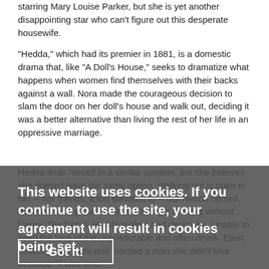starring Mary Louise Parker, but she is yet another disappointing star who can't figure out this desperate housewife.
"Hedda," which had its premier in 1881, is a domestic drama that, like "A Doll's House," seeks to dramatize what happens when women find themselves with their backs against a wall. Nora made the courageous decision to slam the door on her doll's house and walk out, deciding it was a better alternative than living the rest of her life in an oppressive marriage.
Hedda finds herself in a similar position, but she believes she doesn't have the same option. Walking out is open to her -- her friends, if too elevated to -- but Hedda herself, raised in luxury, can't bear the thought of living without luxury. The fact is, Hedda makes bad decisions. Unable to keep the love of the unpredictable and often drunk, Ejlert Lovborg, she went and married a man she didn't love because "it was time."
This website uses cookies. If you continue to use the site, your agreement will result in cookies being set.
Got it!